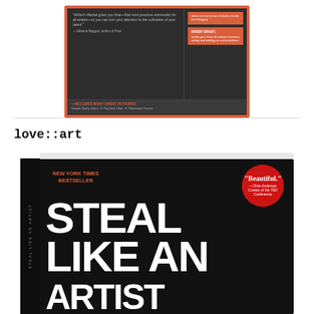[Figure (photo): Top portion of a book cover for a writer's market guide with salmon/orange border, dark interior showing a quote by Julianna Baggott and orange sidebar blocks with contributor names, plus a features bar at bottom]
love::art
[Figure (photo): Book cover of 'Steal Like an Artist' - New York Times Bestseller, black cover with large white hand-lettered title text, red circle badge quoting 'Beautiful.' by Chris Anderson, Curator of the TED Conference. Book shown at an angle showing spine and front cover.]